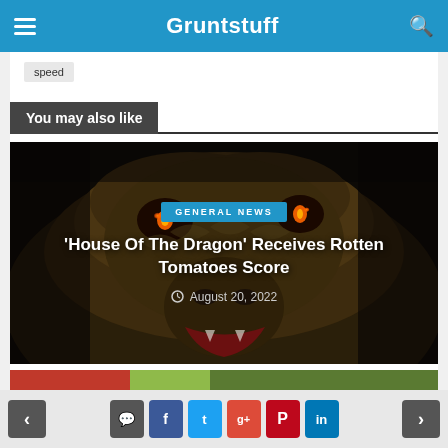Gruntstuff
speed
You may also like
[Figure (photo): Dark fantasy dragon close-up image used as article thumbnail for 'House Of The Dragon' Receives Rotten Tomatoes Score article card with GENERAL NEWS category label and date August 20, 2022]
[Figure (photo): Partial view of a second article thumbnail image, colorful, partially visible at bottom]
Navigation arrows and social share buttons: comment, facebook, twitter, google+, pinterest, linkedin